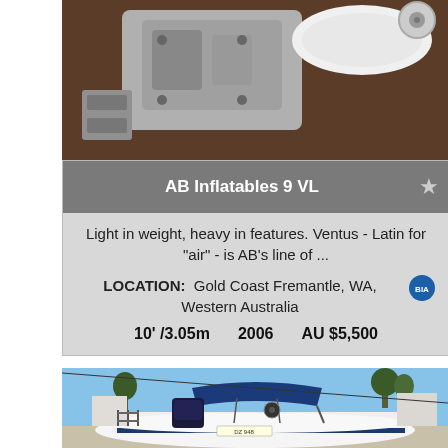[Figure (photo): Close-up photo of an inflatable boat motor/engine parts on a dark wooden surface, with white inflatable tube visible]
AB Inflatables 9 VL
Light in weight, heavy in features. Ventus - Latin for "air" - is AB's line of ...
LOCATION:  Gold Coast Fremantle, WA, Western Australia
10' /3.05m      2006      AU $5,500
[Figure (photo): Photo of a white rigid inflatable boat (RIB) with blue bimini top and outboard motor, registration DZ 948, parked on a trailer in a sunny outdoor area with trees and buildings in background]